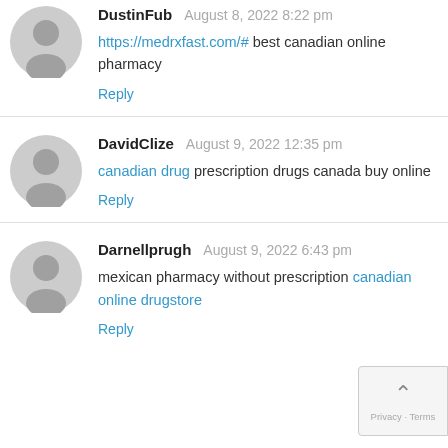DustinFub — August 8, 2022 8:22 pm
https://medrxfast.com/# best canadian online pharmacy
Reply
DavidClize — August 9, 2022 12:35 pm
canadian drug prescription drugs canada buy online
Reply
Darnellprugh — August 9, 2022 6:43 pm
mexican pharmacy without prescription canadian online drugstore
Reply